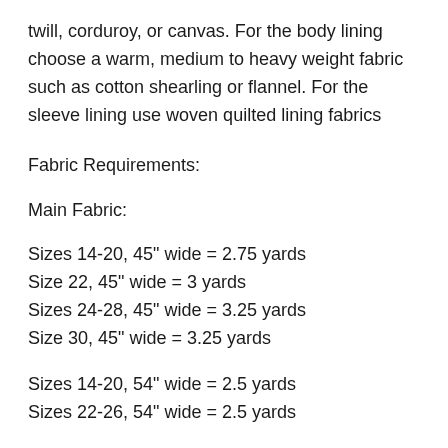twill, corduroy, or canvas. For the body lining choose a warm, medium to heavy weight fabric such as cotton shearling or flannel. For the sleeve lining use woven quilted lining fabrics
Fabric Requirements:
Main Fabric:
Sizes 14-20, 45" wide = 2.75 yards
Size 22, 45" wide = 3 yards
Sizes 24-28, 45" wide = 3.25 yards
Size 30, 45" wide = 3.25 yards
Sizes 14-20, 54" wide = 2.5 yards
Sizes 22-26, 54" wide = 2.5 yards